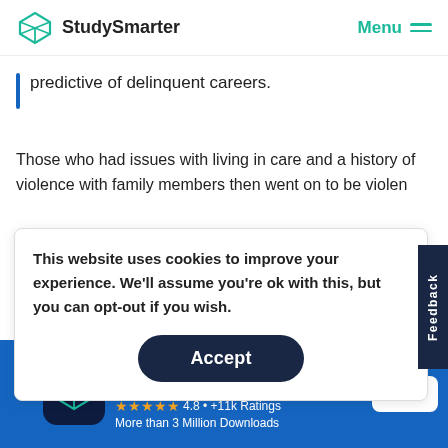StudySmarter   Menu
predictive of delinquent careers.
Those who had issues with living in care and a history of violence with family members then went on to be violen
This website uses cookies to improve your experience. We'll assume you're ok with this, but you can opt-out if you wish.
Accept
Feedback
StudySmarter - The all-in-one study app.
★★★★★  4.8 • +11k Ratings
More than 3 Million Downloads
Free